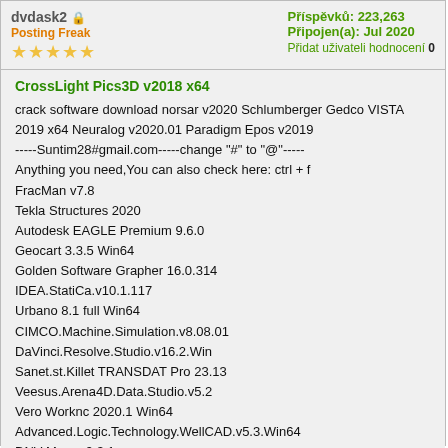dvdask2 🔒 Posting Freak ★★★★★
Příspěvků: 223,263 Připojen(a): Jul 2020 Přidat uživateli hodnocení 0
CrossLight Pics3D v2018 x64
crack software download norsar v2020 Schlumberger Gedco VISTA 2019 x64 Neuralog v2020.01 Paradigm Epos v2019
-----Suntim28#gmail.com-----change "#" to "@"-----
Anything you need,You can also check here: ctrl + f
FracMan v7.8
Tekla Structures 2020
Autodesk EAGLE Premium 9.6.0
Geocart 3.3.5 Win64
Golden Software Grapher 16.0.314
IDEA.StatiCa.v10.1.117
Urbano 8.1 full Win64
CIMCO.Machine.Simulation.v8.08.01
DaVinci.Resolve.Studio.v16.2.Win
Sanet.st.Killet TRANSDAT Pro 23.13
Veesus.Arena4D.Data.Studio.v5.2
Vero Worknc 2020.1 Win64
Advanced.Logic.Technology.WellCAD.v5.3.Win64
DNV Maros 9.3.1
GP-Pro EX Ver. v4.09.100
Siemens.Simcenter.Flotherm.XT.2019.2.Win64